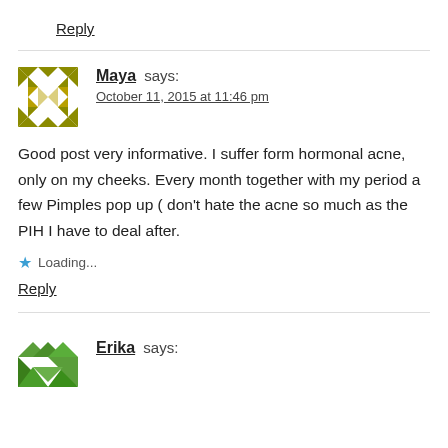Reply
Maya says:
October 11, 2015 at 11:46 pm
Good post very informative. I suffer form hormonal acne, only on my cheeks. Every month together with my period a few Pimples pop up ( don't hate the acne so much as the PIH I have to deal after.
Loading...
Reply
Erika says: